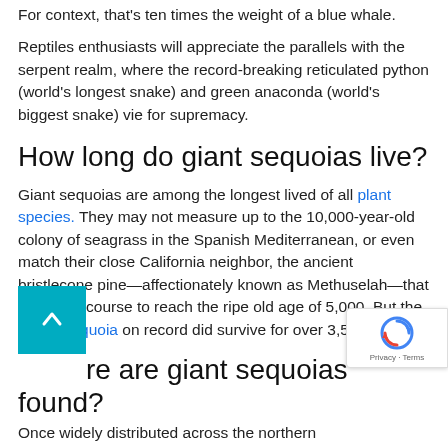For context, that's ten times the weight of a blue whale.
Reptiles enthusiasts will appreciate the parallels with the serpent realm, where the record-breaking reticulated python (world's longest snake) and green anaconda (world's biggest snake) vie for supremacy.
How long do giant sequoias live?
Giant sequoias are among the longest lived of all plant species. They may not measure up to the 10,000-year-old colony of seagrass in the Spanish Mediterranean, or even match their close California neighbor, the ancient bristlecone pine—affectionately known as Methuselah—that is well on course to reach the ripe old age of 5,000. But the oldest sequoia on record did survive for over 3,500 years.
Where are giant sequoias found?
Once widely distributed across the northern